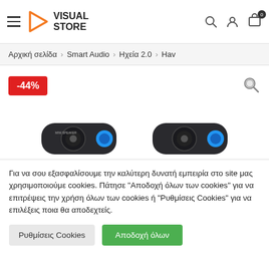Visual Store — header with hamburger menu, logo, search, user, cart (0)
Αρχική σελίδα > Smart Audio > Ηχεία 2.0 > Hav
[Figure (photo): Product image area with -44% red sale badge and magnify icon, showing two Havit mini speakers with blue accent rings]
Για να σου εξασφαλίσουμε την καλύτερη δυνατή εμπειρία στο site μας χρησιμοποιούμε cookies. Πάτησε "Αποδοχή όλων των cookies" για να επιτρέψεις την χρήση όλων των cookies ή "Ρυθμίσεις Cookies" για να επιλέξεις ποια θα αποδεχτείς.
Ρυθμίσεις Cookies
Αποδοχή όλων